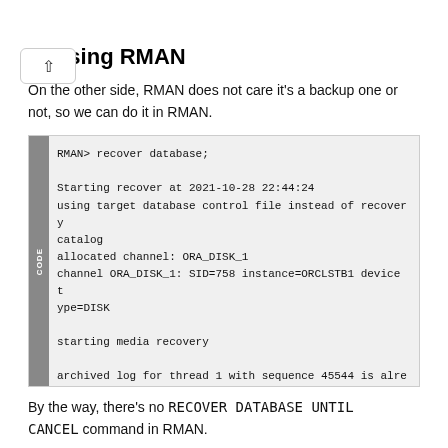1. Using RMAN
On the other side, RMAN does not care it's a backup one or not, so we can do it in RMAN.
RMAN> recover database;

Starting recover at 2021-10-28 22:44:24
using target database control file instead of recovery catalog
allocated channel: ORA_DISK_1
channel ORA_DISK_1: SID=758 instance=ORCLSTB1 device type=DISK

starting media recovery

archived log for thread 1 with sequence 45544 is already on disk as file +DATA/ORCLSTB/ARCHIVELOG/2021_10_28/thread_1_seq_45544_1883_1080107082
By the way, there's no RECOVER DATABASE UNTIL CANCEL command in RMAN.
2. Specify STANDBY